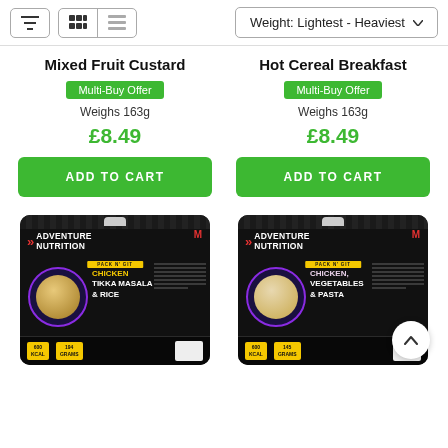[Figure (screenshot): Toolbar with filter icon, grid/list view toggle buttons, and sort dropdown showing 'Weight: Lightest - Heaviest']
Mixed Fruit Custard
Multi-Buy Offer
Weighs 163g
£8.49
ADD TO CART
Hot Cereal Breakfast
Multi-Buy Offer
Weighs 163g
£8.49
ADD TO CART
[Figure (photo): Adventure Nutrition product package for Chicken Tikka Masala & Rice, black packaging with red chevron logo, yellow label, purple circle with food image, 600 kcal 194 grams stats]
[Figure (photo): Adventure Nutrition product package for Chicken, Vegetables & Pasta, black packaging with red chevron logo, yellow label, purple circle with food image, 600 kcal 145 grams stats]